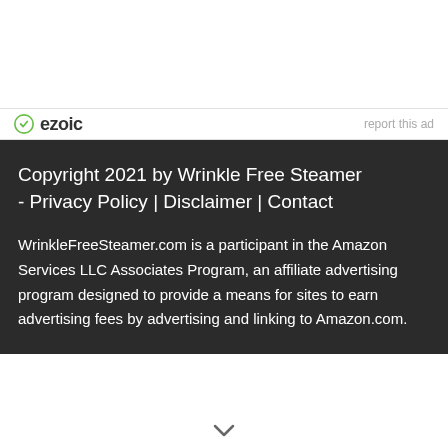[Figure (logo): Ezoic logo with green circular icon and bold 'ezoic' text, with 'report this ad' link on the right]
Copyright 2021 by Wrinkle Free Steamer - Privacy Policy | Disclaimer | Contact
WrinkleFreeSteamer.com is a participant in the Amazon Services LLC Associates Program, an affiliate advertising program designed to provide a means for sites to earn advertising fees by advertising and linking to Amazon.com.